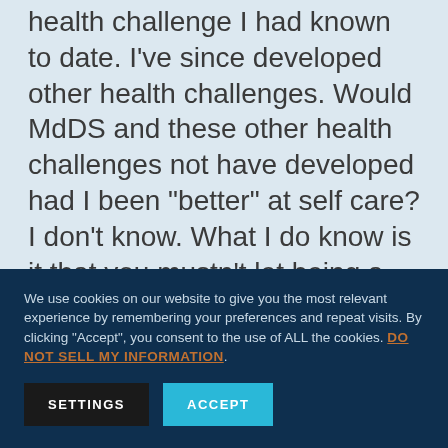health challenge I had known to date. I've since developed other health challenges. Would MdDS and these other health challenges not have developed had I been “better” at self care? I don’t know. What I do know is it that you mustn’t let being a caregiver define you. Make time for yourself. If you are feeling stressed or in pain, recognize it as an opportunity to stop and reassess.
We use cookies on our website to give you the most relevant experience by remembering your preferences and repeat visits. By clicking “Accept”, you consent to the use of ALL the cookies. DO NOT SELL MY INFORMATION.